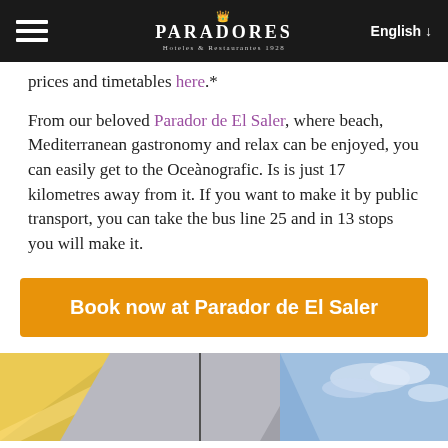PARADORES Hoteles & Restaurantes 1928 | English
prices and timetables here.*
From our beloved Parador de El Saler, where beach, Mediterranean gastronomy and relax can be enjoyed, you can easily get to the Oceànografic. Is is just 17 kilometres away from it. If you want to make it by public transport, you can take the bus line 25 and in 13 stops you will make it.
Book now at Parador de El Saler
[Figure (photo): Partial view of a modern building interior/exterior with warm yellow lighting on the left and a blue sky with clouds on the right.]